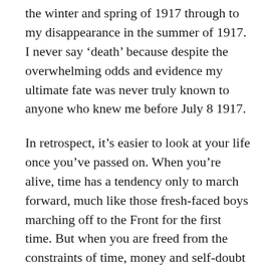the winter and spring of 1917 through to my disappearance in the summer of 1917. I never say ‘death’ because despite the overwhelming odds and evidence my ultimate fate was never truly known to anyone who knew me before July 8 1917.
In retrospect, it’s easier to look at your life once you’ve passed on. When you’re alive, time has a tendency only to march forward, much like those fresh-faced boys marching off to the Front for the first time. But when you are freed from the constraints of time, money and self-doubt about the future you can step back (or float back) to see your life in the larger picture. But when you are living